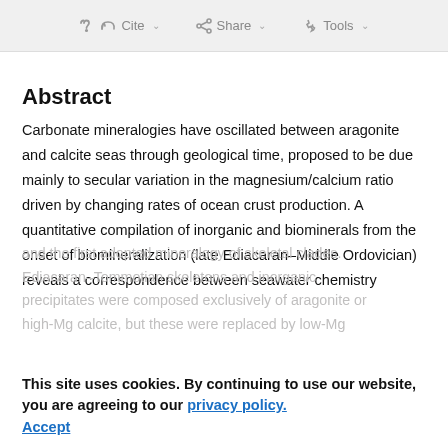Cite  Share  Tools
Abstract
Carbonate mineralogies have oscillated between aragonite and calcite seas through geological time, proposed to be due mainly to secular variation in the magnesium/calcium ratio driven by changing rates of ocean crust production. A quantitative compilation of inorganic and biominerals from the onset of biomineralization (late Ediacaran–Middle Ordovician) reveals a correspondence between seawater chemistry
and the first adopted mineralogy of skeletal clades. Ediacaran–Tommotian skeletons and inorganic precipitates were composed exclusively of aragonite or high-Mg calcite, but these were replaced by low-Mg
This site uses cookies. By continuing to use our website, you are agreeing to our privacy policy. Accept